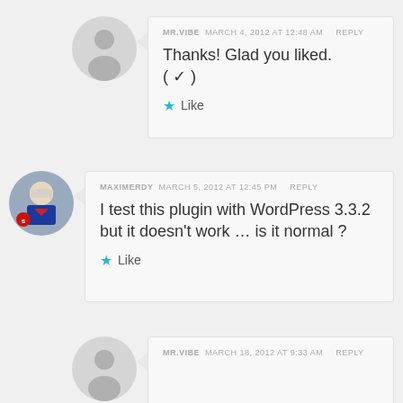MR.VIBE  MARCH 4, 2012 AT 12:48 AM  REPLY
Thanks! Glad you liked.
(✓)
Like
MAXIMERDY  MARCH 5, 2012 AT 12:45 PM  REPLY
I test this plugin with WordPress 3.3.2 but it doesn't work … is it normal ?
Like
MR.VIBE  MARCH 18, 2012 AT 9:33 AM  REPLY